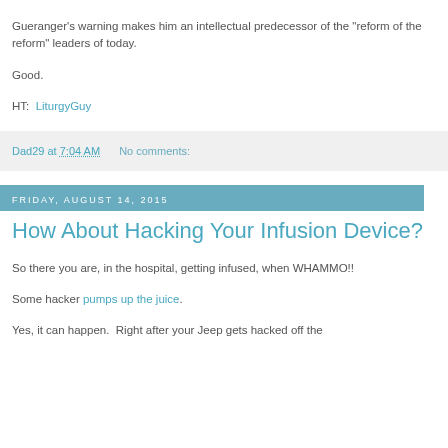Gueranger's warning makes him an intellectual predecessor of the "reform of the reform" leaders of today.
Good.
HT:  LiturgyGuy
Dad29 at 7:04 AM    No comments:
Friday, August 14, 2015
How About Hacking Your Infusion Device?
So there you are, in the hospital, getting infused, when WHAMMO!!
Some hacker pumps up the juice.
Yes, it can happen.  Right after your Jeep gets hacked off the